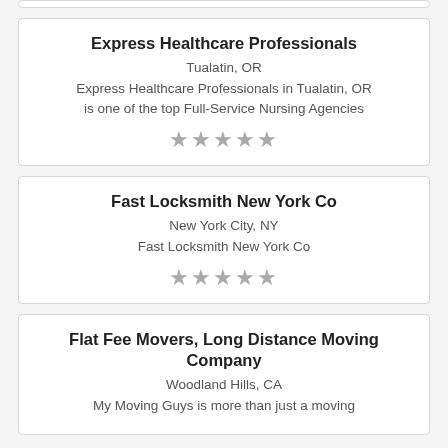Express Healthcare Professionals
Tualatin, OR
Express Healthcare Professionals in Tualatin, OR is one of the top Full-Service Nursing Agencies
[Figure (other): Five grey stars rating]
Fast Locksmith New York Co
New York City, NY
Fast Locksmith New York Co
[Figure (other): Five grey stars rating]
Flat Fee Movers, Long Distance Moving Company
Woodland Hills, CA
My Moving Guys is more than just a moving